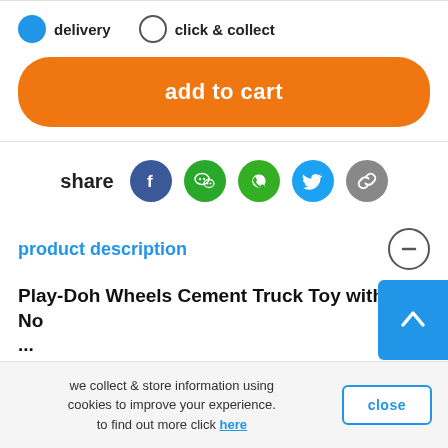delivery   click & collect
[Figure (other): Add to cart orange button]
[Figure (other): Share row with social icons: Facebook, WeChat, WhatsApp, Twitter, Link]
product description
Play-Doh Wheels Cement Truck Toy with 4 No...
we collect & store information using cookies to improve your experience. to find out more click here